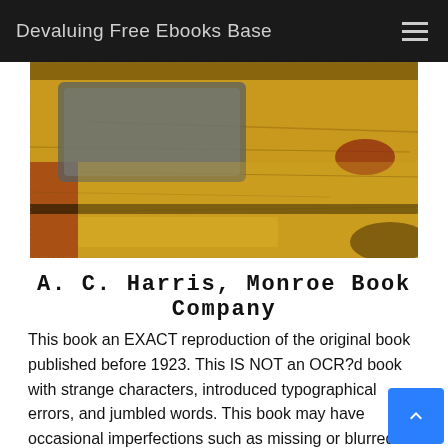Devaluing Free Ebooks Base
[Figure (photo): Old worn book cover with yellow/gold and red distressed texture, with a rectangular label/window on the upper left portion]
A. C. Harris, Monroe Book Company
This book an EXACT reproduction of the original book published before 1923. This IS NOT an OCR?d book with strange characters, introduced typographical errors, and jumbled words. This book may have occasional imperfections such as missing or blurred pages, poor pictures, errant marks, etc. that were